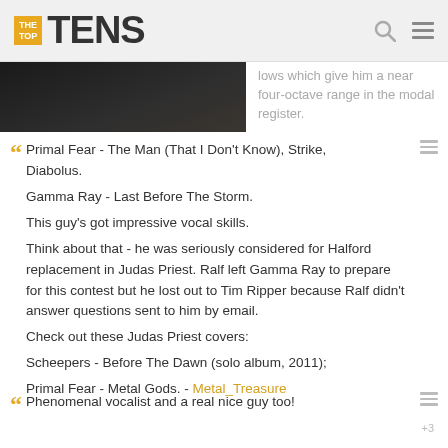THE TOP TENS
[Figure (photo): Partial photo of a person, cropped, dark background]
lows which give him a near four-octave range in the modal register.
Primal Fear - The Man (That I Don't Know), Strike, Diabolus.
Gamma Ray - Last Before The Storm.
This guy's got impressive vocal skills.
Think about that - he was seriously considered for Halford replacement in Judas Priest. Ralf left Gamma Ray to prepare for this contest but he lost out to Tim Ripper because Ralf didn't answer questions sent to him by email.
Check out these Judas Priest covers:
Scheepers - Before The Dawn (solo album, 2011);
Primal Fear - Metal Gods. - Metal_Treasure
Phenomenal vocalist and a real nice guy too!